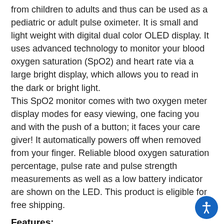from children to adults and thus can be used as a pediatric or adult pulse oximeter. It is small and light weight with digital dual color OLED display. It uses advanced technology to monitor your blood oxygen saturation (SpO2) and heart rate via a large bright display, which allows you to read in the dark or bright light. This SpO2 monitor comes with two oxygen meter display modes for easy viewing, one facing you and with the push of a button; it faces your care giver! It automatically powers off when removed from your finger. Reliable blood oxygen saturation percentage, pulse rate and pulse strength measurements as well as a low battery indicator are shown on the LED. This product is eligible for free shipping.
Features:
Easy and efficient one button operation with auto power-off after 8 seconds
Spot checking of blood oxygen saturation level and pulse rate
Battery-low indicator